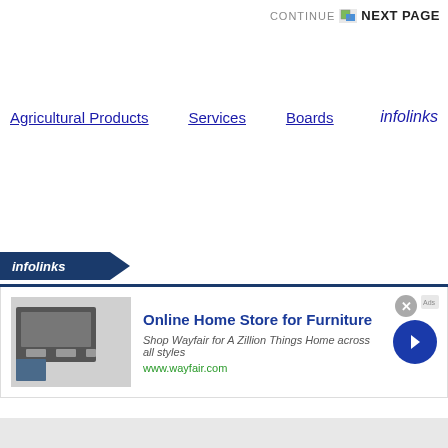CONTINUE NEXT PAGE
Agricultural Products   Services   Boards   infolinks
[Figure (screenshot): Infolinks advertisement banner showing 'Online Home Store for Furniture' ad for Wayfair, with infolinks logo tab, blue divider line, product image, ad title, description text 'Shop Wayfair for A Zillion Things Home across all styles', url 'www.wayfair.com', close button, and navigation arrow button]